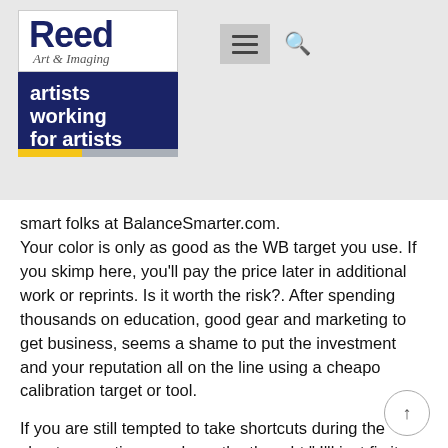[Figure (logo): Reed Art & Imaging logo with 'artists working for artists' banner]
smart folks at BalanceSmarter.com.
Your color is only as good as the WB target you use. If you skimp here, you'll pay the price later in additional work or reprints. Is it worth the risk?. After spending thousands on education, good gear and marketing to get business, seems a shame to put the investment and your reputation all on the line using a cheapo calibration target or tool.
If you are still tempted to take shortcuts during the shoot, every time you have the thought " I'll just fix it